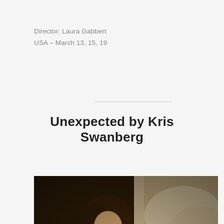Director: Laura Gabbert
USA – March 13, 15, 19
Unexpected by Kris Swanberg
[Figure (photo): Two people lying on a bed. One person in a black outfit leans over another person who is lying down wearing a denim shirt, resting their head on their hand. Warm, dim indoor lighting. Appears to be a film still.]